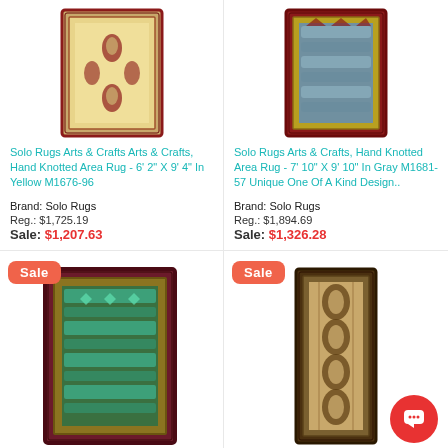[Figure (photo): Arts & Crafts area rug in yellow with red floral pattern, top-left product]
Solo Rugs Arts & Crafts Arts & Crafts, Hand Knotted Area Rug - 6' 2" X 9' 4" In Yellow M1676-96
Brand: Solo Rugs
Reg.: $1,725.19
Sale: $1,207.63
[Figure (photo): Arts & Crafts area rug in gray/blue with red border, top-right product]
Solo Rugs Arts & Crafts, Hand Knotted Area Rug - 7' 10" X 9' 10" In Gray M1681-57 Unique One Of A Kind Design..
Brand: Solo Rugs
Reg.: $1,894.69
Sale: $1,326.28
[Figure (photo): Arts & Crafts area rug in green/teal with dark border, bottom-left product, Sale badge]
[Figure (photo): Arts & Crafts runner rug in brown/tan tones, bottom-right product, Sale badge]